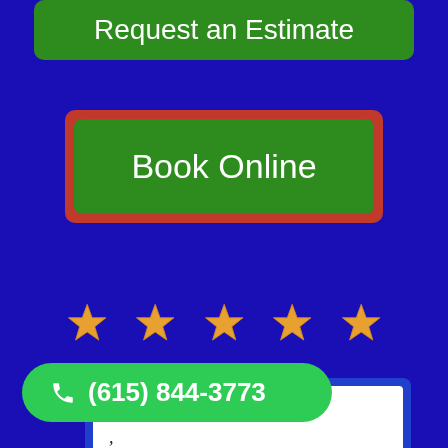Request an Estimate
Book Online
[Figure (illustration): Five gold/orange star rating icons in a row on dark blue background]
tures
,
Dining, Living Room,
(615) 844-3773